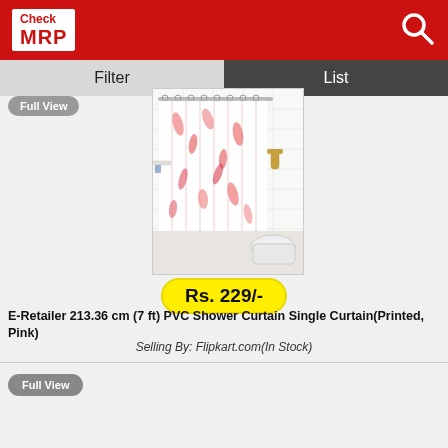Check MRP
Filter | List
Full View
[Figure (photo): Photo of a bathroom with a pink floral printed PVC shower curtain hanging on a rod, with white subway tile walls, a toilet, and a showerhead visible.]
Rs. 229/-
E-Retailer 213.36 cm (7 ft) PVC Shower Curtain Single Curtain(Printed, Pink)
Selling By: Flipkart.com(In Stock)
Full View